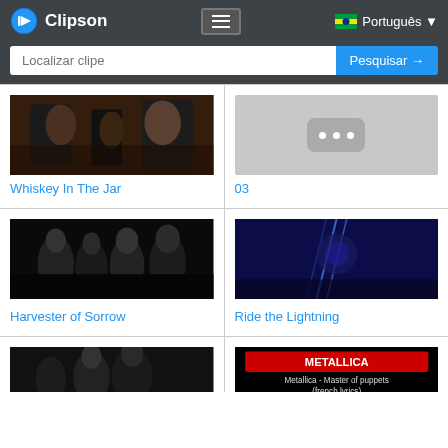Clipson
Localizar clipe
Pesquisar →
[Figure (screenshot): Thumbnail image for Whiskey In The Jar - concert/band photo]
Whiskey In The Jar
[Figure (screenshot): Placeholder thumbnail with three dots for 03]
03
[Figure (screenshot): Thumbnail photo of band members for Harvester of Sorrow]
Harvester of Sorrow
[Figure (screenshot): Thumbnail album art for Ride the Lightning]
Ride the Lightning
[Figure (screenshot): Thumbnail for bottom-left card (partial)]
[Figure (screenshot): Thumbnail Metallica - Master of puppets (french lyrics)]